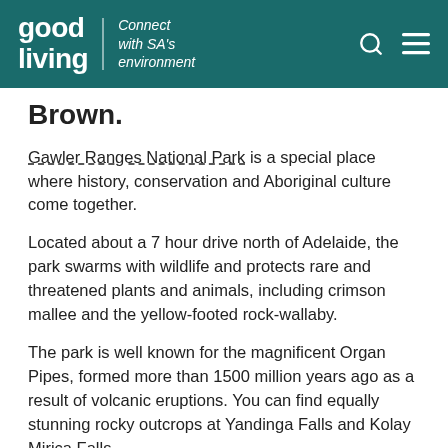good living | Connect with SA's environment
Brown.
Gawler Ranges National Park is a special place where history, conservation and Aboriginal culture come together.
Located about a 7 hour drive north of Adelaide, the park swarms with wildlife and protects rare and threatened plants and animals, including crimson mallee and the yellow-footed rock-wallaby.
The park is well known for the magnificent Organ Pipes, formed more than 1500 million years ago as a result of volcanic eruptions. You can find equally stunning rocky outcrops at Yandinga Falls and Kolay Mirica Falls.
Want to experience it for yourself? We've asked Ranger